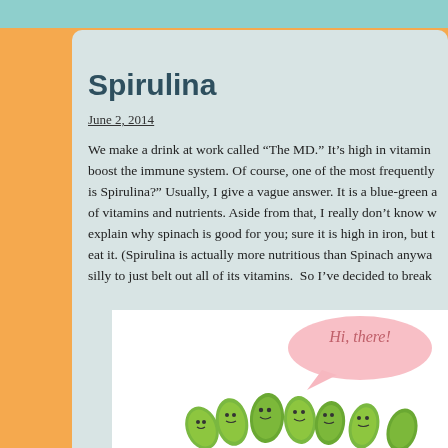Spirulina
June 2, 2014
We make a drink at work called “The MD.” It’s high in vitamin boost the immune system. Of course, one of the most frequently is Spirulina?” Usually, I give a vague answer. It is a blue-green a of vitamins and nutrients. Aside from that, I really don’t know w explain why spinach is good for you; sure it is high in iron, but t eat it. (Spirulina is actually more nutritious than Spinach anywa silly to just belt out all of its vitamins. So I’ve decided to break
[Figure (illustration): Cartoon illustration of green spirulina organisms shaped like rounded pods with smiley faces, with a pink speech bubble saying 'Hi, there!']